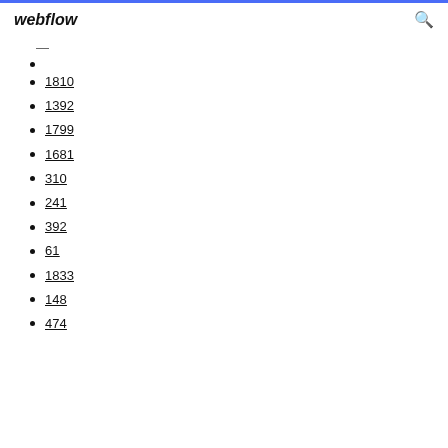webflow
1810
1392
1799
1681
310
241
392
61
1833
148
474